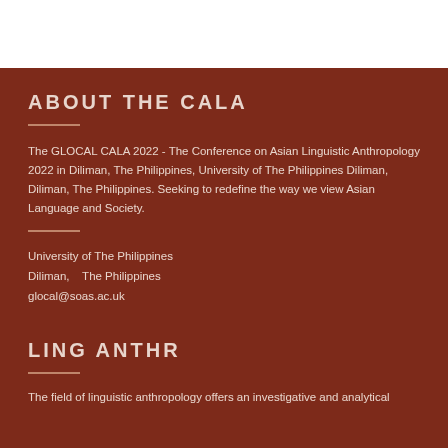ABOUT THE CALA
The GLOCAL CALA 2022 - The Conference on Asian Linguistic Anthropology 2022 in Diliman, The Philippines, University of The Philippines Diliman, Diliman, The Philippines. Seeking to redefine the way we view Asian Language and Society.
University of The Philippines
Diliman,    The Philippines
glocal@soas.ac.uk
LING ANTHR
The field of linguistic anthropology offers an investigative and analytical